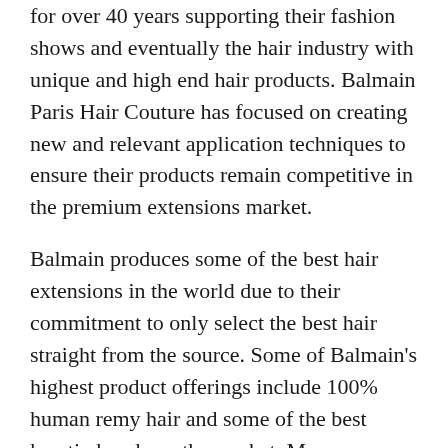for over 40 years supporting their fashion shows and eventually the hair industry with unique and high end hair products. Balmain Paris Hair Couture has focused on creating new and relevant application techniques to ensure their products remain competitive in the premium extensions market.
Balmain produces some of the best hair extensions in the world due to their commitment to only select the best hair straight from the source. Some of Balmain's highest product offerings include 100% human remy hair and some of the best keratin bonds on the market. Many extension salons will purchase Balmain's keratin bonds even if not using their hair as it allows for a longer lasting extension application. At Perfections, we use Balmains Double Hair and Fusion extension products as part of our Fuse One and Series